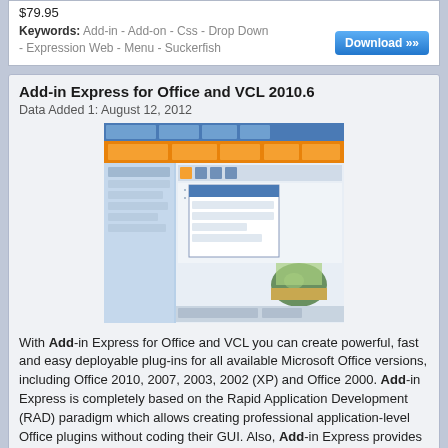$79.95
Keywords: Add-in - Add-on - Css - Drop Down - Expression Web - Menu - Suckerfish
Add-in Express for Office and VCL 2010.6
Data Added 1: August 12, 2012
[Figure (screenshot): Screenshot of Add-in Express for Office and VCL software showing an Office application with ribbon tabs, panels, and toolbars in blue and orange color scheme]
With Add-in Express for Office and VCL you can create powerful, fast and easy deployable plug-ins for all available Microsoft Office versions, including Office 2010, 2007, 2003, 2002 (XP) and Office 2000. Add-in Express is completely based on the Rapid Application Development (RAD) paradigm which allows creating professional application-level Office plugins without coding their GUI. Also, Add-in Express provides your add-ins with version-neutrality, i.e. you write add-in code once and have it...
Size: 1.8 MB License: Shareware Price: $349
Keywords: Addins - Com Add-in - Delphi - Excel - Office - Outlook - Plugin - Rtd - Smart Tag - Vcl
Time Spent Outlook Add In 0.9.0
Data Added 1: October 09, 2014